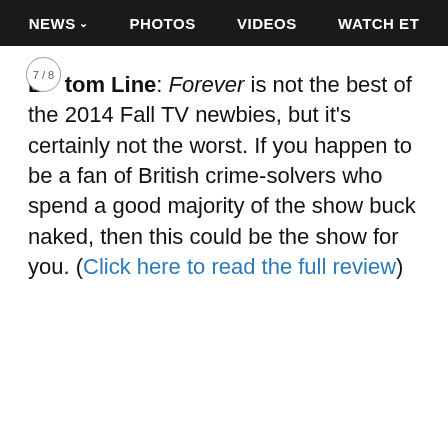NEWS  PHOTOS  VIDEOS  WATCH ET
Bottom Line: Forever is not the best of the 2014 Fall TV newbies, but it's certainly not the worst. If you happen to be a fan of British crime-solvers who spend a good majority of the show buck naked, then this could be the show for you. (Click here to read the full review)